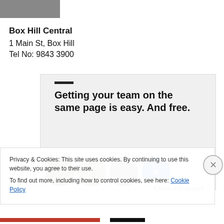[Figure (photo): Partial grey/dark image at top left corner]
Box Hill Central
1 Main St, Box Hill
Tel No: 9843 3900
[Figure (screenshot): Screenshot of a webpage showing the text 'Getting your team on the same page is easy. And free.' with a dark horizontal bar at top and circular avatar photos at the bottom]
Privacy & Cookies: This site uses cookies. By continuing to use this website, you agree to their use.
To find out more, including how to control cookies, see here: Cookie Policy
Close and accept